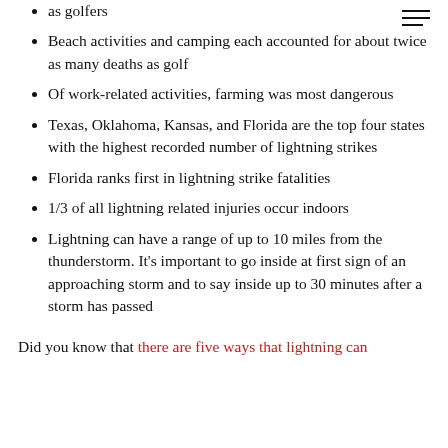as golfers
Beach activities and camping each accounted for about twice as many deaths as golf
Of work-related activities, farming was most dangerous
Texas, Oklahoma, Kansas, and Florida are the top four states with the highest recorded number of lightning strikes
Florida ranks first in lightning strike fatalities
1/3 of all lightning related injuries occur indoors
Lightning can have a range of up to 10 miles from the thunderstorm. It's important to go inside at first sign of an approaching storm and to say inside up to 30 minutes after a storm has passed
Did you know that there are five ways that lightning can